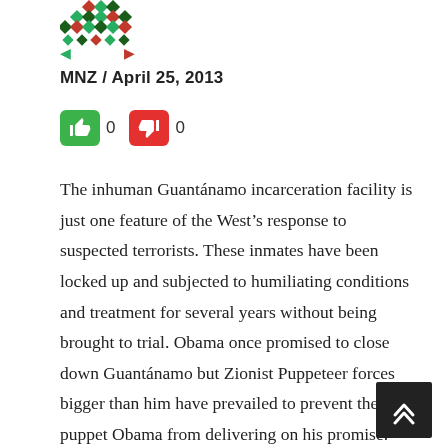[Figure (logo): Decorative geometric/diamond pattern logo in green, red, and dark colors]
MNZ / April 25, 2013
[Figure (infographic): Vote buttons: green thumbs-up icon with count 0, red thumbs-down icon with count 0]
The inhuman Guantánamo incarceration facility is just one feature of the West's response to suspected terrorists. These inmates have been locked up and subjected to humiliating conditions and treatment for several years without being brought to trial. Obama once promised to close down Guantánamo but Zionist Puppeteer forces bigger than him have prevailed to prevent the puppet Obama from delivering on his promise. Look at Palestine, where Israel not only flagrantly violates UN resolutions, but continues with it's expansion of occupied